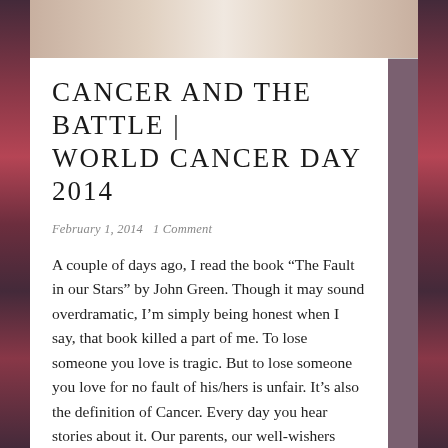CANCER AND THE BATTLE | WORLD CANCER DAY 2014
February 1, 2014   1 Comment
A couple of days ago, I read the book “The Fault in our Stars” by John Green. Though it may sound overdramatic, I’m simply being honest when I say, that book killed a part of me. To lose someone you love is tragic. But to lose someone you love for no fault of his/hers is unfair. It’s also the definition of Cancer. Every day you hear stories about it. Our parents, our well-wishers inform us about the vaccines that prevent it and advise us to get it done immediately. If we have lost